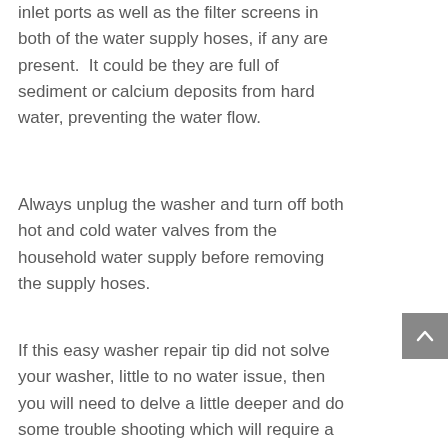inlet ports as well as the filter screens in both of the water supply hoses, if any are present.  It could be they are full of sediment or calcium deposits from hard water, preventing the water flow.
Always unplug the washer and turn off both hot and cold water valves from the household water supply before removing the supply hoses.
If this easy washer repair tip did not solve your washer, little to no water issue, then you will need to delve a little deeper and do some trouble shooting which will require a multi-meter or voltage tester.  This will need to be performed by a person qualified to do this testing.